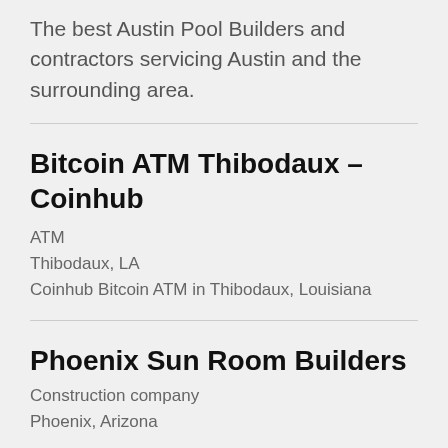The best Austin Pool Builders and contractors servicing Austin and the surrounding area.
Bitcoin ATM Thibodaux – Coinhub
ATM
Thibodaux, LA
Coinhub Bitcoin ATM in Thibodaux, Louisiana
Phoenix Sun Room Builders
Construction company
Phoenix, Arizona